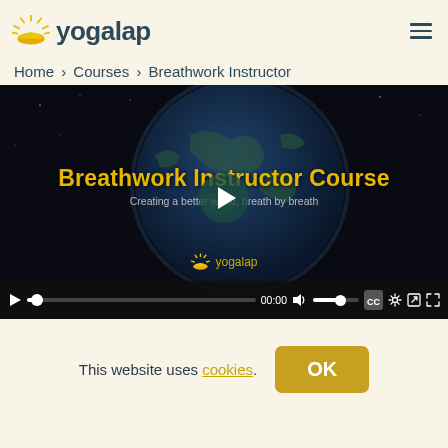[Figure (logo): Yogalap logo with sun icon and text 'yogalap' in dark teal, hamburger menu icon on right]
Home > Courses > Breathwork Instructor
[Figure (screenshot): Video player showing Breathwork Instructor Course with earth globe background, yellow title text 'Breathwork Instructor Course', subtitle 'Creating a better world, breath by breath', yogalap logo, play button overlay, and video controls at bottom]
This website uses cookies. OK